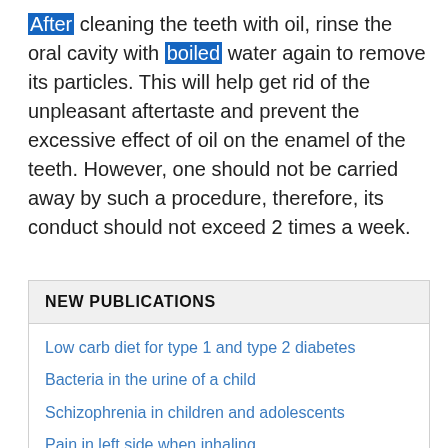After cleaning the teeth with oil, rinse the oral cavity with boiled water again to remove its particles. This will help get rid of the unpleasant aftertaste and prevent the excessive effect of oil on the enamel of the teeth. However, one should not be carried away by such a procedure, therefore, its conduct should not exceed 2 times a week.
NEW PUBLICATIONS
Low carb diet for type 1 and type 2 diabetes
Bacteria in the urine of a child
Schizophrenia in children and adolescents
Pain in left side when inhaling
Itching and peeling of the skin
What can and cannot be done with pancreatitis?